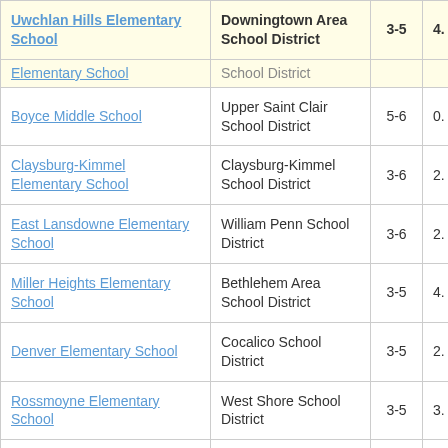| School | District | Grades | Score |
| --- | --- | --- | --- |
| Uwchlan Hills Elementary School | Downingtown Area School District | 3-5 | 4. |
| Elementary School (partial) | School District (partial) |  |  |
| Boyce Middle School | Upper Saint Clair School District | 5-6 | 0. |
| Claysburg-Kimmel Elementary School | Claysburg-Kimmel School District | 3-6 | 2. |
| East Lansdowne Elementary School | William Penn School District | 3-6 | 2. |
| Miller Heights Elementary School | Bethlehem Area School District | 3-5 | 4. |
| Denver Elementary School | Cocalico School District | 3-5 | 2. |
| Rossmoyne Elementary School | West Shore School District | 3-5 | 3. |
| Jamestown Area | Jamestown Area | 3-6 |  |